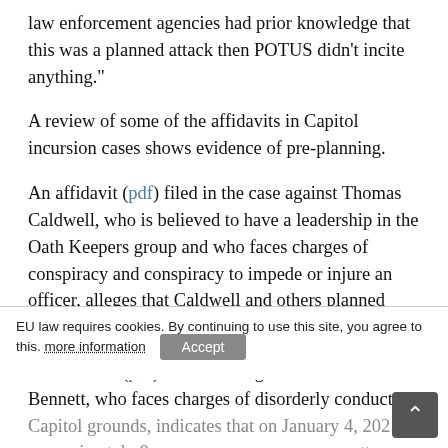law enforcement agencies had prior knowledge that this was a planned attack then POTUS didn’t incite anything.”
A review of some of the affidavits in Capitol incursion cases shows evidence of pre-planning.
An affidavit (pdf) filed in the case against Thomas Caldwell, who is believed to have a leadership in the Oath Keepers group and who faces charges of conspiracy and conspiracy to impede or injure an officer, alleges that Caldwell and others planned parts of the incursion in advance.
An affidavit (pdf) in the case against Andrew Bennett, who faces charges of disorderly conduct on Capitol grounds, indicates that on January 4, 2021 at approximately 8 p.m., Bennett posted the following, along with a photograph of a caravan of vehicles on a road carrying
EU law requires cookies. By continuing to use this site, you agree to this. more information